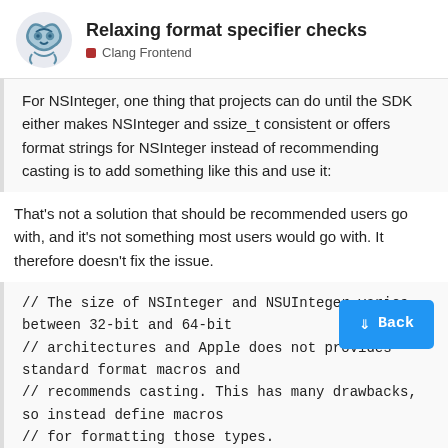Relaxing format specifier checks — Clang Frontend
For NSInteger, one thing that projects can do until the SDK either makes NSInteger and ssize_t consistent or offers format strings for NSInteger instead of recommending casting is to add something like this and use it:
That's not a solution that should be recommended users go with, and it's not something most users would go with. It therefore doesn't fix the issue.
// The size of NSInteger and NSUInteger varies between 32-bit and 64-bit
// architectures and Apple does not provides standard format macros and
// recommends casting. This has many drawbacks, so instead define macros
// for formatting those types.
#if defined(OS_MACOSX)
#if defined(ARCH_CPU_64_BITS)
#if !defined(PRIdNS)